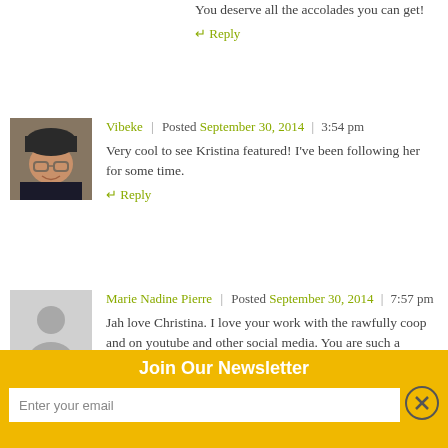You deserve all the accolades you can get!
↵ Reply
Vibeke | Posted September 30, 2014 | 3:54 pm
Very cool to see Kristina featured! I've been following her for some time.
↵ Reply
Marie Nadine Pierre | Posted September 30, 2014 | 7:57 pm
Jah love Christina. I love your work with the rawfully coop and on youtube and other social media. You are such a
Join Our Newsletter
Enter your email